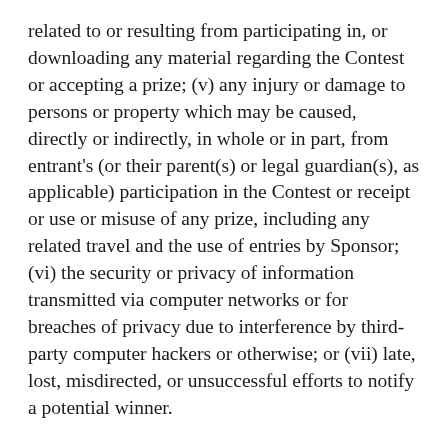related to or resulting from participating in, or downloading any material regarding the Contest or accepting a prize; (v) any injury or damage to persons or property which may be caused, directly or indirectly, in whole or in part, from entrant's (or their parent(s) or legal guardian(s), as applicable) participation in the Contest or receipt or use or misuse of any prize, including any related travel and the use of entries by Sponsor; (vi) the security or privacy of information transmitted via computer networks or for breaches of privacy due to interference by third-party computer hackers or otherwise; or (vii) late, lost, misdirected, or unsuccessful efforts to notify a potential winner.
10. Other Conditions. The Sponsor reserves the right to terminate or amend this Contest at any time and in any way, without prior notice to entrants (or their